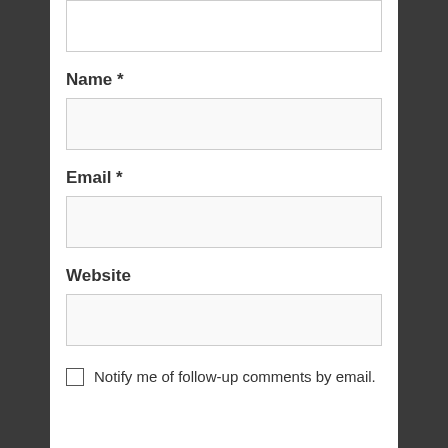(textarea top, partially visible)
Name *
(name input field)
Email *
(email input field)
Website
(website input field)
Notify me of follow-up comments by email.